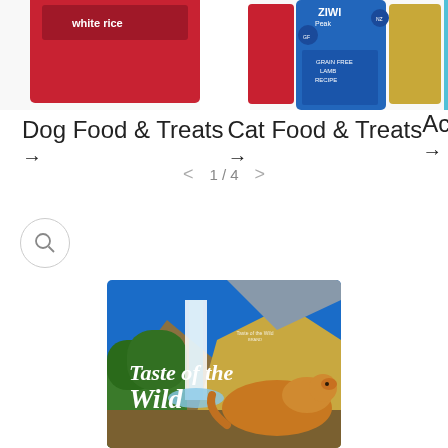[Figure (screenshot): Partial view of dog food product image in red can/package at top left]
[Figure (screenshot): Partial view of ZIWI Peak cat food cans and another product at top center-right]
Dog Food & Treats →
Cat Food & Treats →
Ac →
1/4
[Figure (photo): Taste of the Wild product bag showing a cougar/mountain lion near a waterfall with text 'Taste of the Wild']